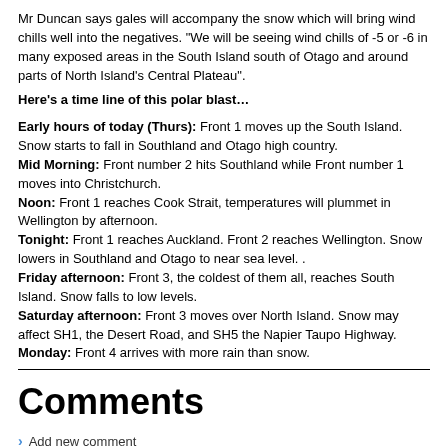Mr Duncan says gales will accompany the snow which will bring wind chills well into the negatives.  "We will be seeing wind chills of -5 or -6 in many exposed areas in the South Island south of Otago and around parts of North Island's Central Plateau".
Here's a time line of this polar blast…
Early hours of today (Thurs):  Front 1 moves up the South Island. Snow starts to fall in Southland and Otago high country.
Mid Morning:  Front number 2 hits Southland while Front number 1 moves into Christchurch.
Noon:  Front 1 reaches Cook Strait, temperatures will plummet in Wellington by afternoon.
Tonight:  Front 1 reaches Auckland.  Front 2 reaches Wellington. Snow lowers in Southland and Otago to near sea level.  .
Friday afternoon:  Front 3, the coldest of them all, reaches South Island.  Snow falls to low levels.
Saturday afternoon:  Front 3 moves over North Island.  Snow may affect SH1, the Desert Road, and SH5 the Napier Taupo Highway.
Monday:  Front 4 arrives with more rain than snow.
Comments
Add new comment